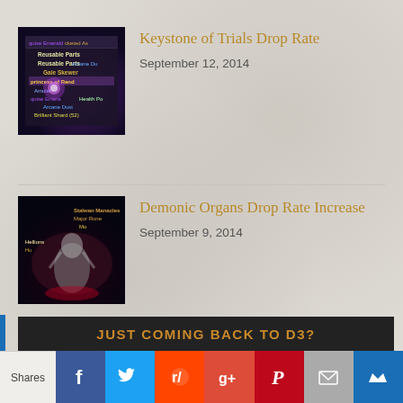[Figure (screenshot): Game screenshot from Diablo 3 showing inventory/loot items with purple and gold colored text labels including Reusable Parts, Arcane Dust, Gale Skewer, Marquise Emerald, Health Potion, Arcane Dust, Brilliant Shard (52)]
Keystone of Trials Drop Rate
September 12, 2014
[Figure (screenshot): Game screenshot from Diablo 3 showing a dark scene with a character/demon and text overlays including Stalwart Manacles, Major Rune, Hellions]
Demonic Organs Drop Rate Increase
September 9, 2014
JUST COMING BACK TO D3?
Shares